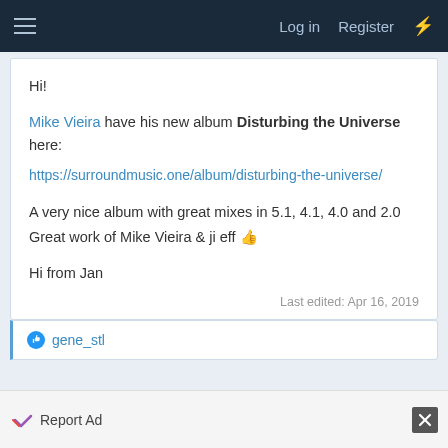Log in  Register
Hi!

Mike Vieira have his new album Disturbing the Universe here:
https://surroundmusic.one/album/disturbing-the-universe/

A very nice album with great mixes in 5.1, 4.1, 4.0 and 2.0
Great work of Mike Vieira & ji eff 👍

Hi from Jan

Last edited: Apr 16, 2019
gene_stl
Report Ad